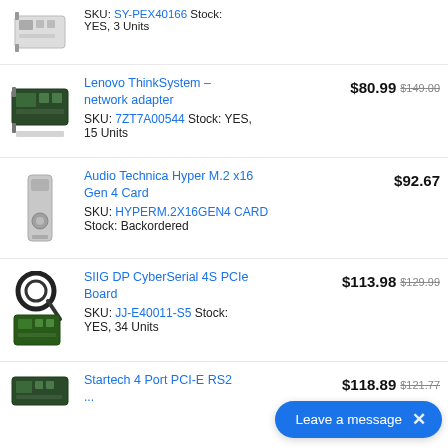SKU: SY-PEX40166 Stock: YES, 3 Units
Lenovo ThinkSystem - network adapter SKU: 7ZT7A00544 Stock: YES, 15 Units
$80.99   $149.00
Audio Technica Hyper M.2 x16 Gen 4 Card SKU: HYPERM.2X16GEN4 CARD Stock: Backordered
$92.67
SIIG DP CyberSerial 4S PCIe Board SKU: JJ-E40011-S5 Stock: YES, 34 Units
$113.98   $129.99
Startech 4 Port PCI-E RS2...
$118.89   $121.77
Leave a message